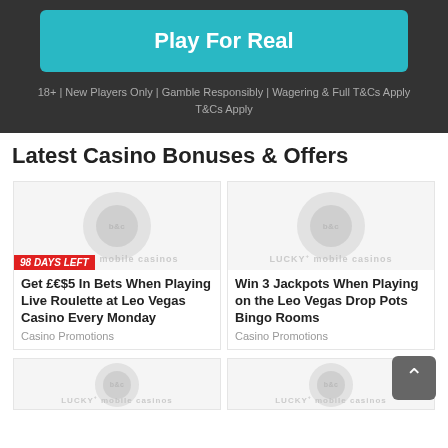[Figure (screenshot): Teal 'Play For Real' button on dark background]
18+ | New Players Only | Gamble Responsibly | Wagering & Full T&Cs Apply
T&Cs Apply
Latest Casino Bonuses & Offers
[Figure (photo): Lucky Mobile Casinos watermark placeholder image for card 1]
98 DAYS LEFT
Get £€$5 In Bets When Playing Live Roulette at Leo Vegas Casino Every Monday
Casino Promotions
[Figure (photo): Lucky Mobile Casinos watermark placeholder image for card 2]
Win 3 Jackpots When Playing on the Leo Vegas Drop Pots Bingo Rooms
Casino Promotions
[Figure (photo): Lucky Mobile Casinos watermark placeholder image for card 3 (partial)]
[Figure (photo): Lucky Mobile Casinos watermark placeholder image for card 4 (partial)]